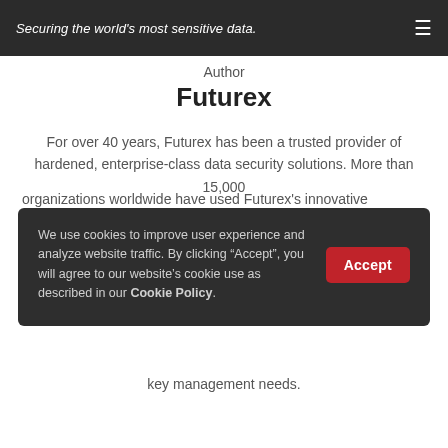Securing the world's most sensitive data.
Author
Futurex
For over 40 years, Futurex has been a trusted provider of hardened, enterprise-class data security solutions. More than 15,000 organizations worldwide have used Futurex's innovative hardware security modules, key management servers, and cloud HSM solutions to meet their data encryption and key management needs.
We use cookies to improve user experience and analyze website traffic. By clicking “Accept”, you will agree to our website’s cookie use as described in our Cookie Policy.